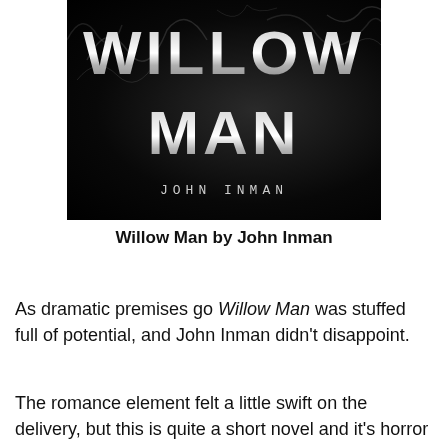[Figure (illustration): Book cover of 'Willow Man' by John Inman. Dark/black background with dramatic smoke effects. Title 'WILLOW MAN' in large bold white/grey letters filled with cityscapes imagery. Author name 'JOHN INMAN' in spaced monospace letters at the bottom.]
Willow Man by John Inman
As dramatic premises go Willow Man was stuffed full of potential, and John Inman didn't disappoint.
The romance element felt a little swift on the delivery, but this is quite a short novel and it's horror